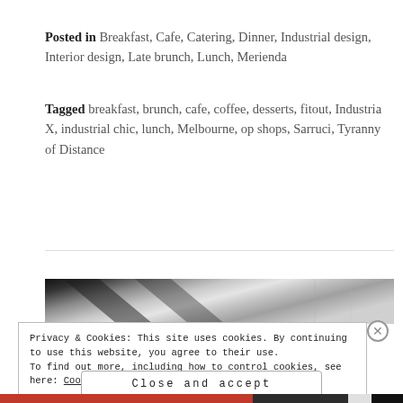Posted in Breakfast, Cafe, Catering, Dinner, Industrial design, Interior design, Late brunch, Lunch, Merienda
Tagged breakfast, brunch, cafe, coffee, desserts, fitout, Industria X, industrial chic, lunch, Melbourne, op shops, Sarruci, Tyranny of Distance
[Figure (photo): Partial view of an interior or architectural photo showing metallic/industrial elements in grayscale]
Privacy & Cookies: This site uses cookies. By continuing to use this website, you agree to their use. To find out more, including how to control cookies, see here: Cookie Policy
Close and accept